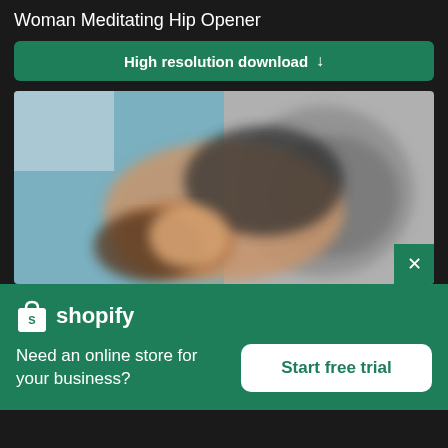Woman Meditating Hip Opener
High resolution download ↓
[Figure (photo): Blurred photo of a woman doing a hip opener yoga pose, lying on a decorative mat]
[Figure (logo): Shopify logo with bag icon and wordmark]
Need an online store for your business?
Start free trial